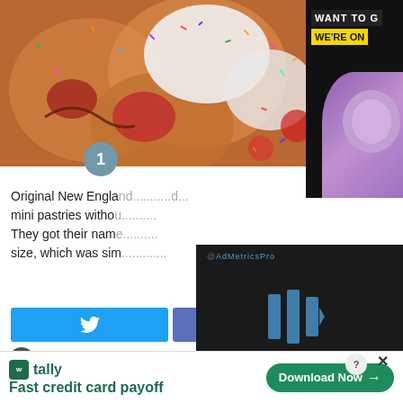[Figure (photo): Close-up photo of colorful mini pastries/donuts with sprinkles, frosting, and fruit toppings]
[Figure (screenshot): Side advertisement banner showing 'WANT TO G' and 'WE'RE ON' text with a person in purple]
Original New England... mini pastries witho... They got their name... size, which was sim...
[Figure (screenshot): Video player overlay showing AdMetrics Pro and Mr. Food Test Kitchen branding]
FREE SIGN-UP! Hundreds of Free, Diabetic-Friendly Recipes Straight to Your Inbox
[Figure (screenshot): Tally app advertisement: Fast credit card payoff with Download Now button]